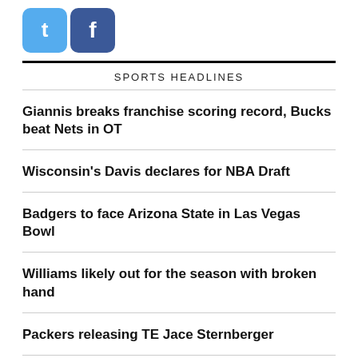[Figure (logo): Twitter and Facebook social media icons, square rounded buttons in blue]
SPORTS HEADLINES
Giannis breaks franchise scoring record, Bucks beat Nets in OT
Wisconsin's Davis declares for NBA Draft
Badgers to face Arizona State in Las Vegas Bowl
Williams likely out for the season with broken hand
Packers releasing TE Jace Sternberger